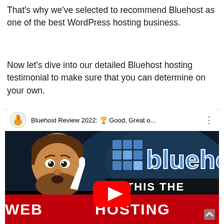That's why we've selected to recommend Bluehost as one of the best WordPress hosting business.
Now let's dive into our detailed Bluehost hosting testimonial to make sure that you can determine on your own.
[Figure (screenshot): YouTube video embed showing 'Bluehost Review 2022: Good, Great o...' with a thumbnail featuring a man pointing and Bluehost logo with text 'IS THIS THE BEST WEB HOSTING' and a YouTube play button.]